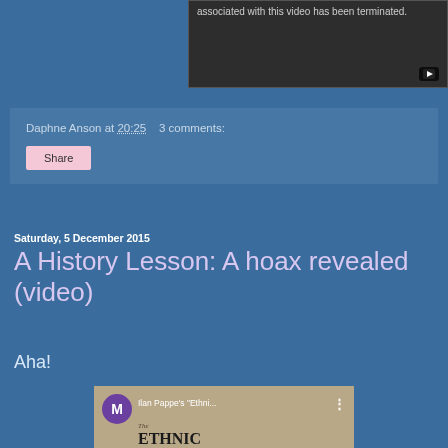[Figure (screenshot): YouTube video player showing terminated video with dark background and YouTube icon]
associated with this video has been terminated.
Daphne Anson at 20:25    3 comments:
Share
Saturday, 5 December 2015
A History Lesson: A hoax revealed (video)
Aha!
[Figure (screenshot): YouTube video thumbnail showing Ilan Pappe's Ethnic book cover with purple M avatar icon and three-dot menu]